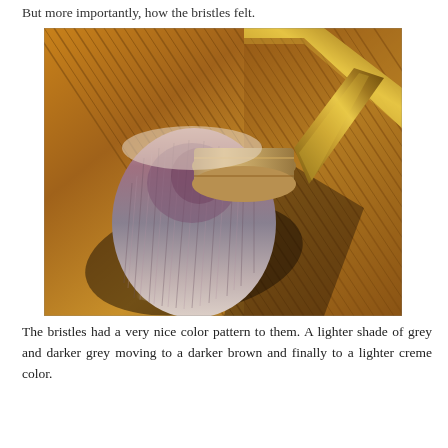But more importantly, how the bristles felt.
[Figure (photo): Close-up photo of a makeup brush with soft bristles showing a color pattern of lighter grey, darker grey, darker brown, and lighter creme colors. The brush has a gold/bronze handle and is lying on a wooden striped surface. White powder is visible beneath the brush head.]
The bristles had a very nice color pattern to them. A lighter shade of grey and darker grey moving to a darker brown and finally to a lighter creme color.